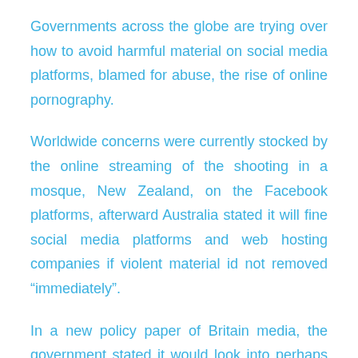Governments across the globe are trying over how to avoid harmful material on social media platforms, blamed for abuse, the rise of online pornography.
Worldwide concerns were currently stocked by the online streaming of the shooting in a mosque, New Zealand, on the Facebook platforms, afterward Australia stated it will fine social media platforms and web hosting companies if violent material id not removed “immediately”.
In a new policy paper of Britain media, the government stated it would look into perhaps using fines, stopping access to harmful websites, and imposing responsibility on senior technology company management for worsening to limit the supplying the